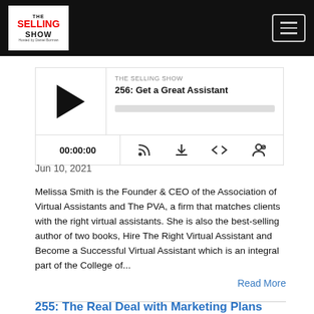THE SELLING SHOW — navigation header with logo and hamburger menu
[Figure (screenshot): Podcast player widget for episode 256: Get a Great Assistant on The Selling Show. Shows play button, episode title, podcast label, progress bar, time display 00:00:00, and control icons (RSS, download, embed, share).]
Jun 10, 2021
Melissa Smith is the Founder & CEO of the Association of Virtual Assistants and The PVA, a firm that matches clients with the right virtual assistants. She is also the best-selling author of two books, Hire The Right Virtual Assistant and Become a Successful Virtual Assistant which is an integral part of the College of...
Read More
255: The Real Deal with Marketing Plans